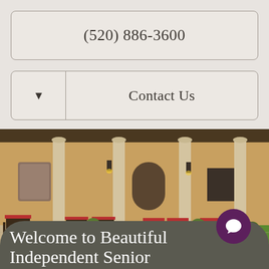(520) 886-3600
Contact Us
[Figure (photo): Outdoor courtyard of a senior living community featuring stone columns, patio furniture with red cushions, potted plants, and a green lawn]
Welcome to Beautiful Independent Senior